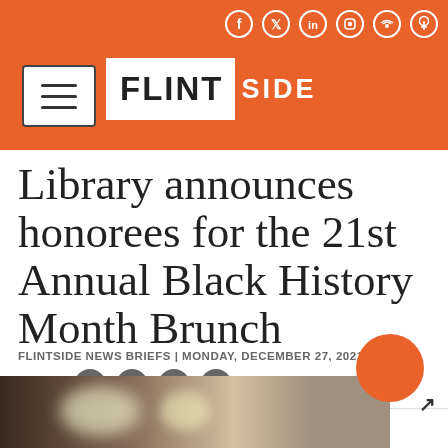[Figure (screenshot): Flintside website header with orange background and social media icons (Facebook, Twitter, LinkedIn, Instagram, RSS, Search)]
Library announces honorees for the 21st Annual Black History Month Brunch
FLINTSIDE NEWS BRIEFS | MONDAY, DECEMBER 27, 2021
SHARE [Facebook] [Twitter] [LinkedIn] [Email]
[Figure (photo): Partial photo of event at bottom of page with blurred lights]